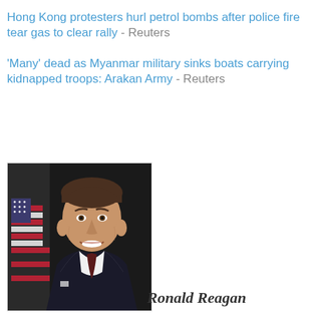Hong Kong protesters hurl petrol bombs after police fire tear gas to clear rally - Reuters
'Many' dead as Myanmar military sinks boats carrying kidnapped troops: Arakan Army - Reuters
[Figure (photo): Portrait photograph of Ronald Reagan in a dark suit and tie, smiling, with an American flag visible in the background.]
Ronald Reagan